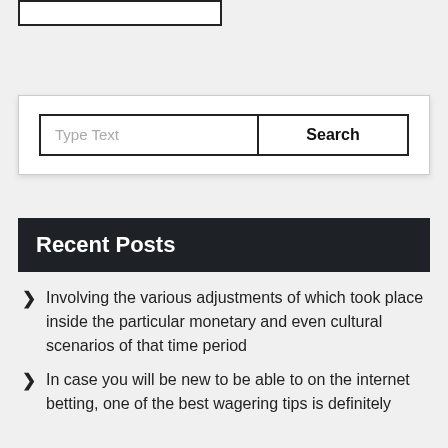[Figure (other): Empty white rectangular box with dark border at top left]
[Figure (screenshot): Search bar widget with text input field showing placeholder 'Type Text' and a Search button]
Recent Posts
Involving the various adjustments of which took place inside the particular monetary and even cultural scenarios of that time period
In case you will be new to be able to on the internet betting, one of the best wagering tips is definitely